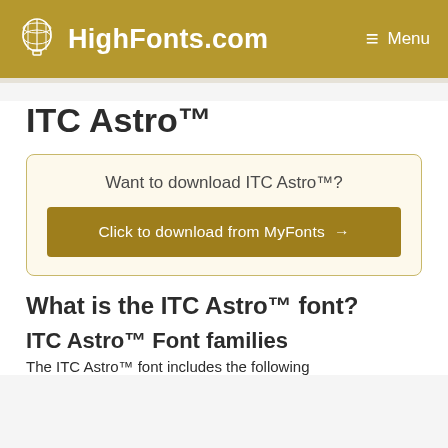HighFonts.com  Menu
ITC Astro™
Want to download ITC Astro™?
Click to download from MyFonts →
What is the ITC Astro™ font?
ITC Astro™ Font families
The ITC Astro™ font includes the following